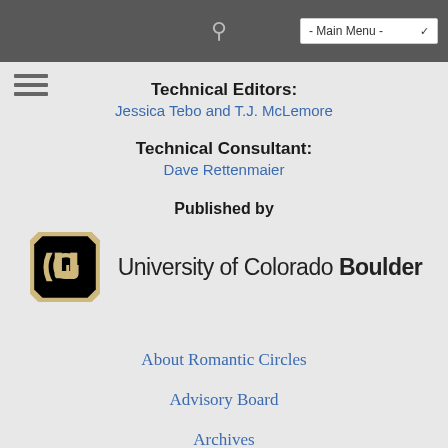- Main Menu -
Technical Editors:
Jessica Tebo and T.J. McLemore
Technical Consultant:
Dave Rettenmaier
Published by
[Figure (logo): University of Colorado Boulder logo with CU buffalo symbol and text]
About Romantic Circles
Advisory Board
Archives